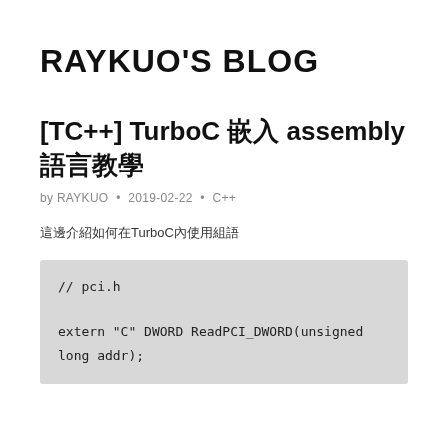RAYKUO'S BLOG
[TC++] TurboC 嵌入 assembly 語言教學
by RAYKUO • 2019-02-22 • C++
這邊介紹如何在TurboC內使用組語
// pci.h

extern "C" DWORD ReadPCI_DWORD(unsigned long addr);